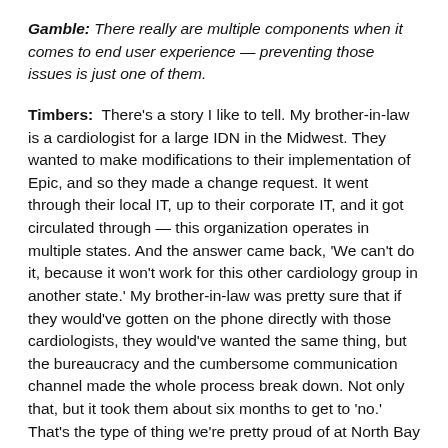Gamble: There really are multiple components when it comes to end user experience — preventing those issues is just one of them.
Timbers: There's a story I like to tell. My brother-in-law is a cardiologist for a large IDN in the Midwest. They wanted to make modifications to their implementation of Epic, and so they made a change request. It went through their local IT, up to their corporate IT, and it got circulated through — this organization operates in multiple states. And the answer came back, 'We can't do it, because it won't work for this other cardiology group in another state.' My brother-in-law was pretty sure that if they would've gotten on the phone directly with those cardiologists, they would've wanted the same thing, but the bureaucracy and the cumbersome communication channel made the whole process break down. Not only that, but it took them about six months to get to 'no.' That's the type of thing we're pretty proud of at North Bay — we're able to avoid it